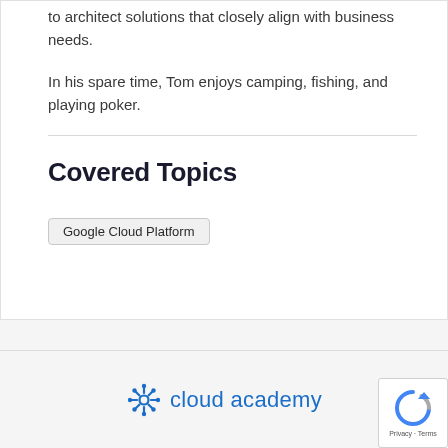to architect solutions that closely align with business needs.
In his spare time, Tom enjoys camping, fishing, and playing poker.
Covered Topics
Google Cloud Platform
[Figure (logo): Cloud Academy logo with blue snowflake/flower icon and 'cloud academy' text in blue]
[Figure (other): reCAPTCHA badge with blue/grey circular arrow icon and Privacy · Terms text]